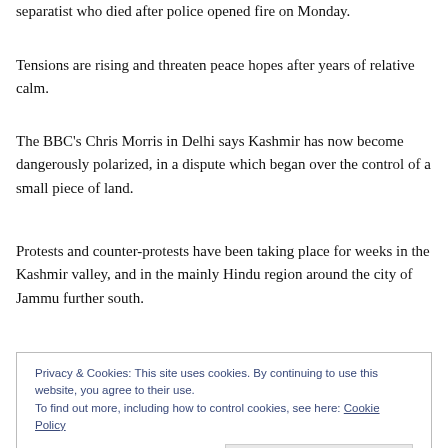separatist who died after police opened fire on Monday.
Tensions are rising and threaten peace hopes after years of relative calm.
The BBC's Chris Morris in Delhi says Kashmir has now become dangerously polarized, in a dispute which began over the control of a small piece of land.
Protests and counter-protests have been taking place for weeks in the Kashmir valley, and in the mainly Hindu region around the city of Jammu further south.
Privacy & Cookies: This site uses cookies. By continuing to use this website, you agree to their use.
To find out more, including how to control cookies, see here: Cookie Policy
[Close and accept]